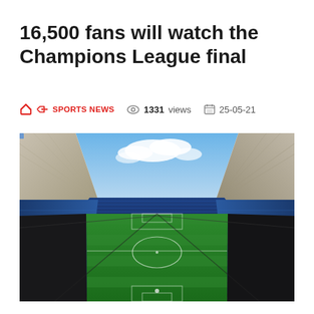16,500 fans will watch the Champions League final
SPORTS NEWS  1331 views  25-05-21
[Figure (photo): Interior of a large football stadium with blue seats, empty stands, green pitch visible under an open roof with sky and clouds above.]